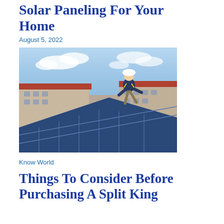Solar Paneling For Your Home
August 5, 2022
[Figure (photo): A worker in a hard hat and safety harness installs solar panels on a rooftop, with buildings and a partly cloudy sky in the background.]
Know World
Things To Consider Before Purchasing A Split King